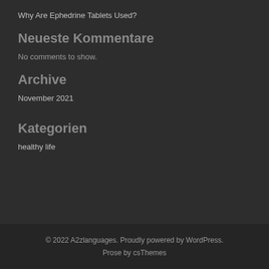Why Are Ephedrine Tablets Used?
Neueste Kommentare
No comments to show.
Archive
November 2021
Kategorien
healthy life
© 2022 A2zlanguages. Proudly powered by WordPress. Prose by csThemes